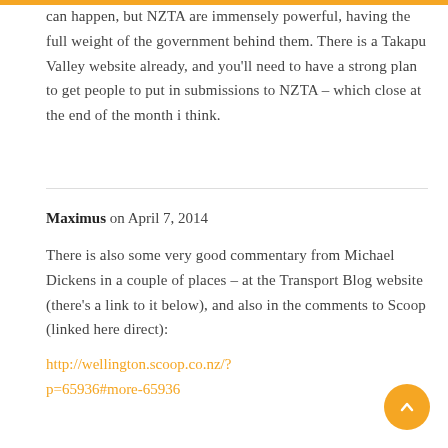can happen, but NZTA are immensely powerful, having the full weight of the government behind them. There is a Takapu Valley website already, and you'll need to have a strong plan to get people to put in submissions to NZTA – which close at the end of the month i think.
Maximus on April 7, 2014
There is also some very good commentary from Michael Dickens in a couple of places – at the Transport Blog website (there's a link to it below), and also in the comments to Scoop (linked here direct):
http://wellington.scoop.co.nz/?p=65936#more-65936